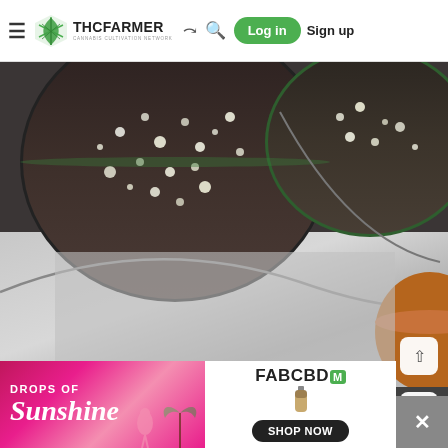THCFarmer Cannabis Cultivation Network — Log in  Sign up
[Figure (photo): Top-down view of cannabis grow pots with dark soil mixed with perlite, a silver mylar reflective surface below, green fabric pots, and metal training wires. A terracotta pot is visible at the right edge.]
[Figure (photo): Partial view of cannabis plants in a grow tent with reflective silver walls, a black fan on the left, green cannabis plants in dark pots, and black tent walls.]
[Figure (infographic): FAB CBD advertisement banner: 'DROPS OF Sunshine' text on pink gradient background on the left, FAB CBD logo with green M badge and SHOP NOW button on white background on the right.]